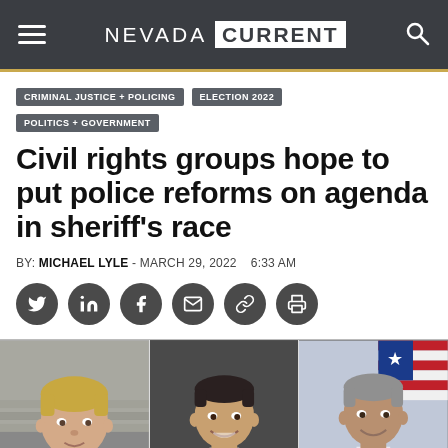NEVADA CURRENT
CRIMINAL JUSTICE + POLICING
ELECTION 2022
POLITICS + GOVERNMENT
Civil rights groups hope to put police reforms on agenda in sheriff's race
BY: MICHAEL LYLE - MARCH 29, 2022   6:33 AM
[Figure (photo): Headshots of three men — candidates in a sheriff's race. Left: a heavyset blond man in a dark shirt against a light background. Center: a man in a dark suit and tie smiling against a dark background. Right: a man in a suit with an American flag behind him.]